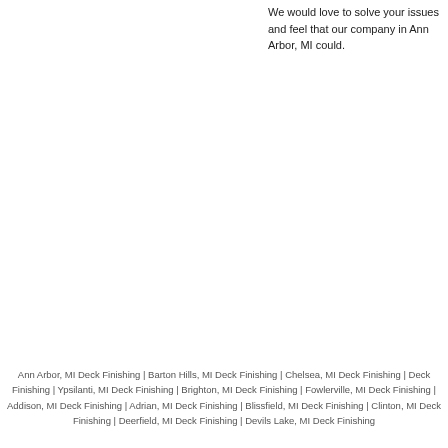We would love to solve your issues and feel that our company in Ann Arbor, MI could.
Ann Arbor, MI Deck Finishing | Barton Hills, MI Deck Finishing | Chelsea, MI Deck Finishing | Deck Finishing | Ypsilanti, MI Deck Finishing | Brighton, MI Deck Finishing | Fowlerville, MI Deck Finishing | Addison, MI Deck Finishing | Adrian, MI Deck Finishing | Blissfield, MI Deck Finishing | Clinton, MI Deck Finishing | Deerfield, MI Deck Finishing | Devils Lake, MI Deck Finishing